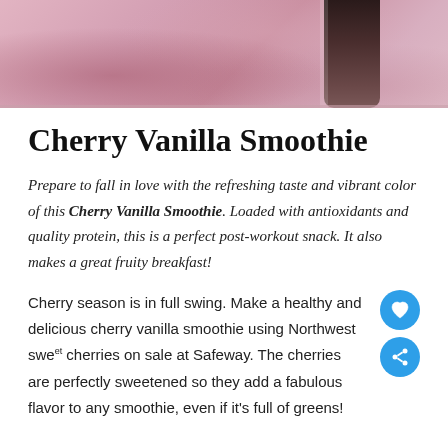[Figure (photo): Top portion of a pink/red cherry vanilla smoothie in a glass, with what appears to be a dark bottle partially visible on the right side. Pink-red gradient color suggesting a blended cherry smoothie.]
Cherry Vanilla Smoothie
Prepare to fall in love with the refreshing taste and vibrant color of this Cherry Vanilla Smoothie. Loaded with antioxidants and quality protein, this is a perfect post-workout snack. It also makes a great fruity breakfast!
Cherry season is in full swing.  Make a healthy and delicious cherry vanilla smoothie using Northwest sweet cherries on sale at Safeway.  The cherries are perfectly sweetened so they add a fabulous flavor to any smoothie, even if it's full of greens!